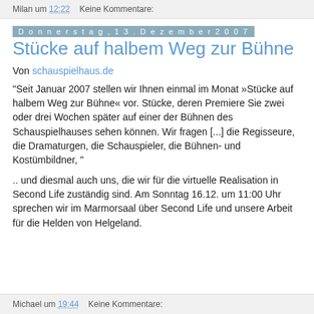Milan um 12:22    Keine Kommentare:
Donnerstag, 13. Dezember 2007
Stücke auf halbem Weg zur Bühne
Von schauspielhaus.de
"Seit Januar 2007 stellen wir Ihnen einmal im Monat »Stücke auf halbem Weg zur Bühne« vor. Stücke, deren Premiere Sie zwei oder drei Wochen später auf einer der Bühnen des Schauspielhauses sehen können. Wir fragen [...] die Regisseure, die Dramaturgen, die Schauspieler, die Bühnen- und Kostümbildner, "
.. und diesmal auch uns, die wir für die virtuelle Realisation in Second Life zuständig sind. Am Sonntag 16.12. um 11:00 Uhr sprechen wir im Marmorsaal über Second Life und unsere Arbeit für die Helden von Helgeland.
Michael um 19:44    Keine Kommentare: